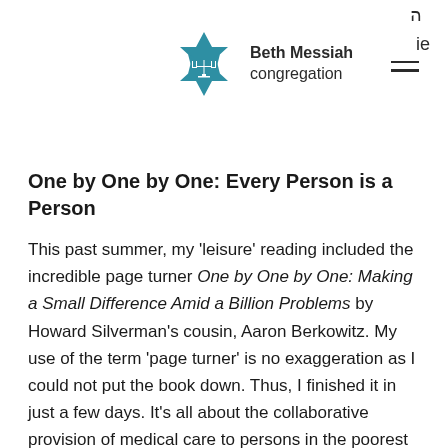Beth Messiah congregation
One by One by One: Every Person is a Person
This past summer, my ‘leisure’ reading included the incredible page turner One by One by One: Making a Small Difference Amid a Billion Problems by Howard Silverman’s cousin, Aaron Berkowitz. My use of the term ‘page turner’ is no exaggeration as I could not put the book down. Thus, I finished it in just a few days. It’s all about the collaborative provision of medical care to persons in the poorest country in the Western Hemisphere, Haiti. A careful